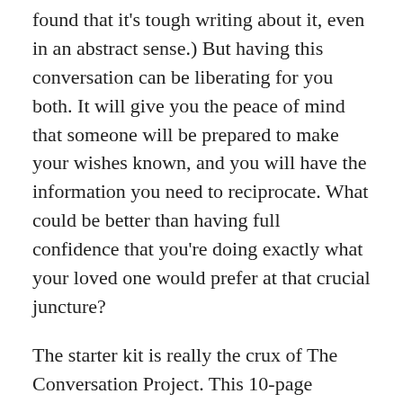found that it's tough writing about it, even in an abstract sense.) But having this conversation can be liberating for you both. It will give you the peace of mind that someone will be prepared to make your wishes known, and you will have the information you need to reciprocate. What could be better than having full confidence that you're doing exactly what your loved one would prefer at that crucial juncture?
The starter kit is really the crux of The Conversation Project. This 10-page document will equip you to have this conversation with all of the important people in your life and will prepare each of you for the acceptance necessary to make it work. Following the conversation, the starter kit provides some valuable next steps: documents you should have on hand, further clarifying questions to deal with specific